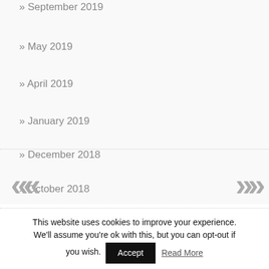September 2019
May 2019
April 2019
January 2019
December 2018
October 2018
This website uses cookies to improve your experience. We'll assume you're ok with this, but you can opt-out if you wish. Accept Read More